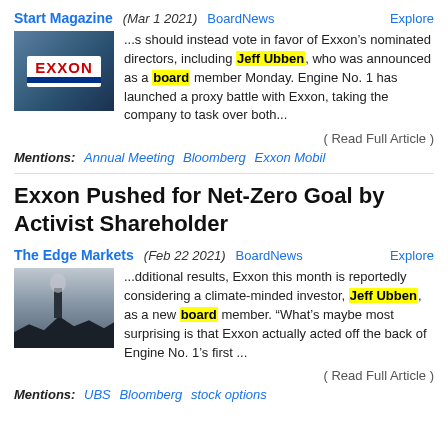Start Magazine (Mar 1 2021)   BoardNews   Explore
[Figure (photo): Exxon sign photo against blue sky with trees]
...s should instead vote in favor of Exxon’s nominated directors, including Jeff Ubben, who was announced as a board member Monday. Engine No. 1 has launched a proxy battle with Exxon, taking the company to task over both...
( Read Full Article )
Mentions: Annual Meeting  Bloomberg  Exxon Mobil
Exxon Pushed for Net-Zero Goal by Activist Shareholder
The Edge Markets (Feb 22 2021)   BoardNews   Explore
[Figure (photo): Industrial chimney with smoke against grey sky, tree silhouette]
...dditional results, Exxon this month is reportedly considering a climate-minded investor, Jeff Ubben, as a new board member. “What’s maybe most surprising is that Exxon actually acted off the back of Engine No. 1’s first ...
( Read Full Article )
Mentions: UBS  Bloomberg  stock options